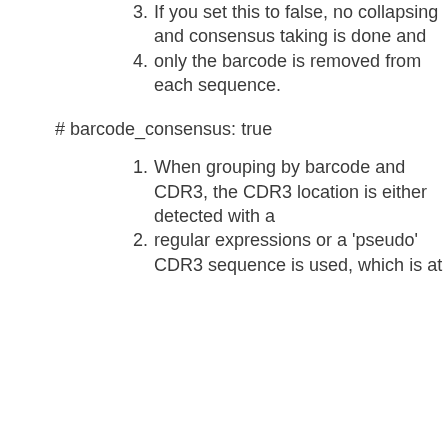3. If you set this to false, no collapsing and consensus taking is done and
4. only the barcode is removed from each sequence.
# barcode_consensus: true
1. When grouping by barcode and CDR3, the CDR3 location is either detected with a
2. regular expressions or a 'pseudo' CDR3 sequence is used, which is at